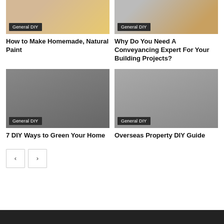[Figure (photo): Painting supplies with yellow paint and brushes]
General DIY
How to Make Homemade, Natural Paint
[Figure (photo): Woodworking tools including rulers and pencils]
General DIY
Why Do You Need A Conveyancing Expert For Your Building Projects?
[Figure (photo): Green home DIY image]
General DIY
7 DIY Ways to Green Your Home
[Figure (photo): Overseas property image]
General DIY
Overseas Property DIY Guide